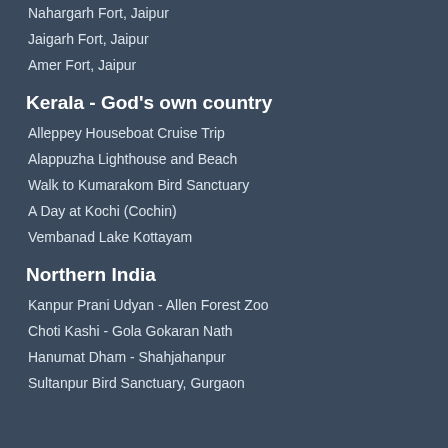Nahargarh Fort, Jaipur
Jaigarh Fort, Jaipur
Amer Fort, Jaipur
Kerala - God's own country
Alleppey Houseboat Cruise Trip
Alappuzha Lighthouse and Beach
Walk to Kumarakom Bird Sanctuary
A Day at Kochi (Cochin)
Vembanad Lake Kottayam
Northern India
Kanpur Prani Udyan - Allen Forest Zoo
Choti Kashi - Gola Gokaran Nath
Hanumat Dham - Shahjahanpur
Sultanpur Bird Sanctuary, Gurgaon